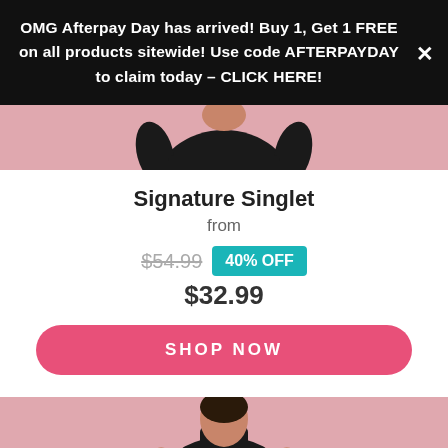OMG Afterpay Day has arrived! Buy 1, Get 1 FREE on all products sitewide! Use code AFTERPAYDAY to claim today – CLICK HERE!
[Figure (photo): Cropped photo of a woman in black activewear (singlet and shorts) against a pink background, showing torso and hands.]
Signature Singlet
from
$54.99  40% OFF  $32.99
SHOP NOW
[Figure (photo): Cropped photo of a woman in a black sports bra against a pink background, showing upper torso.]